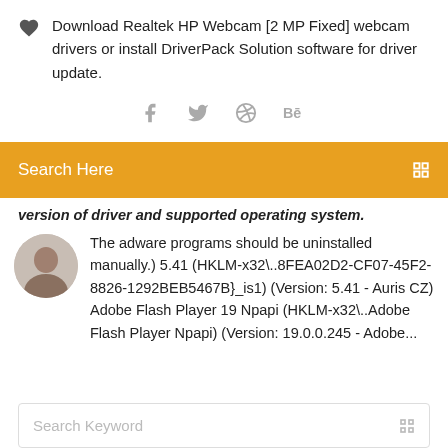Download Realtek HP Webcam [2 MP Fixed] webcam drivers or install DriverPack Solution software for driver update.
[Figure (illustration): Social media share icons: Facebook, Twitter, Dribbble, Behance]
Search Here
version of driver and supported operating system.
The adware programs should be uninstalled manually.) 5.41 (HKLM-x32\..8FEA02D2-CF07-45F2-8826-1292BEB5467B}_is1) (Version: 5.41 - Auris CZ) Adobe Flash Player 19 Npapi (HKLM-x32\..Adobe Flash Player Npapi) (Version: 19.0.0.245 - Adobe...
Search Keyword